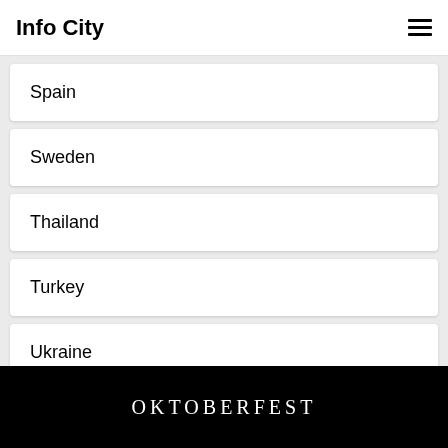Info City
Spain
Sweden
Thailand
Turkey
Ukraine
OKTOBERFEST